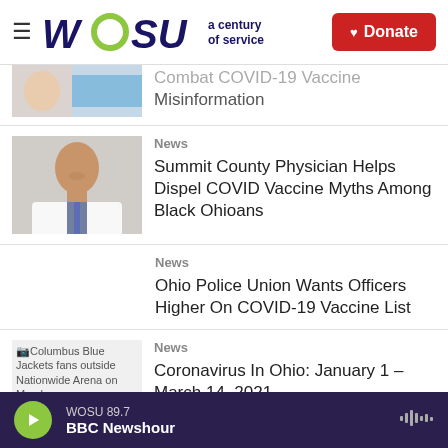[Figure (logo): WOSU logo with green circle O, dark blue text, tagline 'a century of service', and red Donate button]
Combat COVID-19 Vaccine Misinformation
News
Summit County Physician Helps Dispel COVID Vaccine Myths Among Black Ohioans
News
Ohio Police Union Wants Officers Higher On COVID-19 Vaccine List
News
Coronavirus In Ohio: January 1 – March 14, 2021
WOSU 89.7 | BBC Newshour